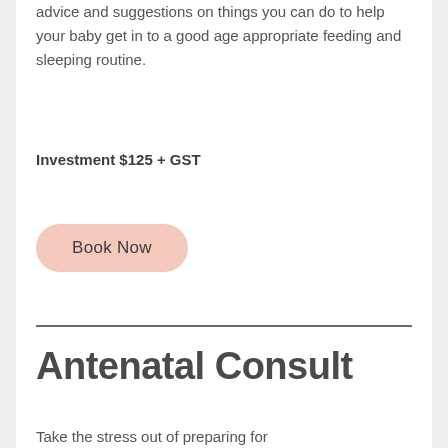advice and suggestions on things you can do to help your baby get in to a good age appropriate feeding and sleeping routine.
Investment $125 + GST
Book Now
Antenatal Consult
Take the stress out of preparing for